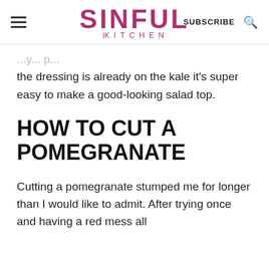SINFUL KITCHEN — SUBSCRIBE
the dressing is already on the kale it's super easy to make a good-looking salad top.
HOW TO CUT A POMEGRANATE
Cutting a pomegranate stumped me for longer than I would like to admit. After trying once and having a red mess all